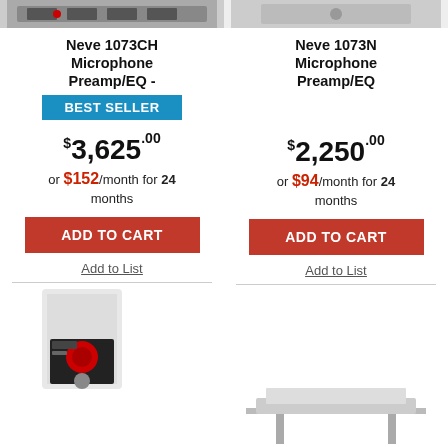[Figure (photo): Top portion of Neve 1073CH product image (cropped at top)]
[Figure (photo): Top portion of Neve 1073N product image (cropped at top)]
Neve 1073CH Microphone Preamp/EQ -
BEST SELLER
Neve 1073N Microphone Preamp/EQ
$3,625.00
$2,250.00
or $152/month for 24 months
or $94/month for 24 months
ADD TO CART
ADD TO CART
Add to List
Add to List
[Figure (photo): Neve 500-series module product image (partially visible at bottom left)]
[Figure (photo): Neve product image (partially visible at bottom right)]